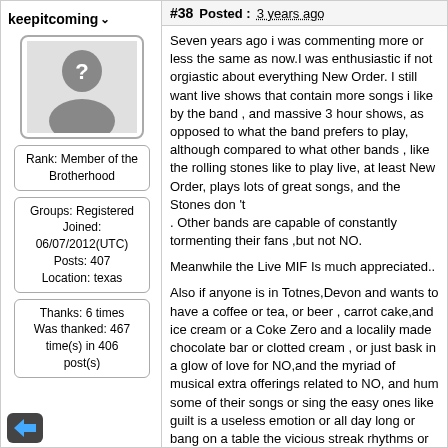keepitcoming
#38 Posted : 3 years ago
[Figure (illustration): Default user avatar silhouette with question mark]
Rank: Member of the Brotherhood
Groups: Registered
Joined: 06/07/2012(UTC)
Posts: 407
Location: texas
Thanks: 6 times
Was thanked: 467 time(s) in 406 post(s)
Seven years ago i was commenting more or less the same as now.I was enthusiastic if not orgiastic about everything New Order. I still want live shows that contain more songs i like by the band , and massive 3 hour shows, as opposed to what the band prefers to play, although compared to what other bands , like the rolling stones like to play live, at least New Order, plays lots of great songs, and the Stones don 't
. Other bands are capable of constantly tormenting their fans ,but not NO.
Meanwhile the Live MIF Is much appreciated..
Also if anyone is in Totnes,Devon and wants to have a coffee or tea, or beer , carrot cake,and ice cream or a Coke Zero and a localily made chocolate bar or clotted cream , or just bask in a glow of love for NO,and the myriad of musical extra offerings related to NO, and hum some of their songs or sing the easy ones like guilt is a useless emotion or all day long or bang on a table the vicious streak rhythms or think about other bands like Pink Floyd ,or Panda Bear ,or the Echo Bunnymen, that is ok ,too.
We're like kestrels